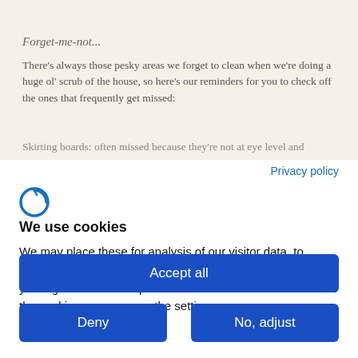[Figure (photo): Partial photo strip showing a plant or floral image with green/teal tones at the top of the page]
Forget-me-not...
There's always those pesky areas we forget to clean when we're doing a huge ol' scrub of the house, so here's our reminders for you to check off the ones that frequently get missed:
Skirting boards: often missed because they're not at eye level and
Privacy policy
[Figure (logo): Cookiebot logo — blue stylized letter C with a curve]
We use cookies
We may place these for analysis of our visitor data, to improve our website, show personalised content and to give you a great website experience. For more information about the cookies we use open the settings.
Accept all
Deny
No, adjust